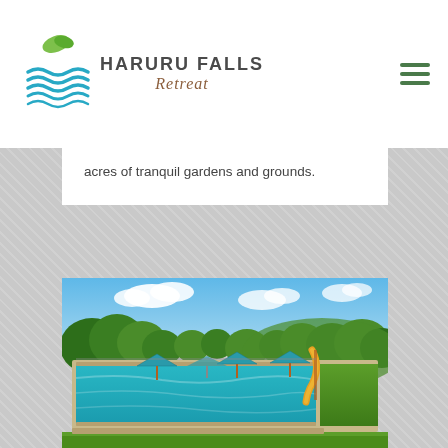HARURU FALLS Retreat
acres of tranquil gardens and grounds.
[Figure (photo): Outdoor swimming pool with turquoise water, surrounded by poolside umbrellas, green lawn, trees, and a yellow water slide in the background under a partly cloudy blue sky.]